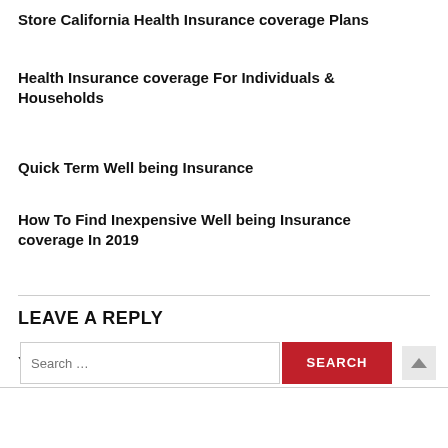Store California Health Insurance coverage Plans
Health Insurance coverage For Individuals & Households
Quick Term Well being Insurance
How To Find Inexpensive Well being Insurance coverage In 2019
LEAVE A REPLY
You must be logged in to post a comment.
Search ...